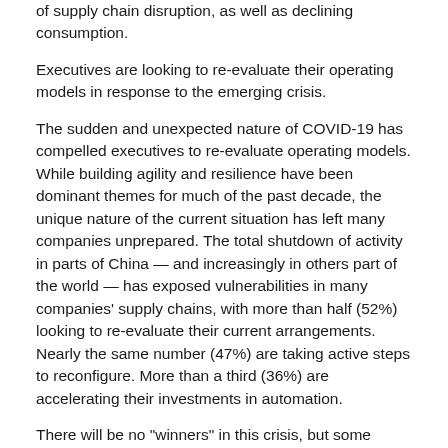of supply chain disruption, as well as declining consumption.
Executives are looking to re-evaluate their operating models in response to the emerging crisis.
The sudden and unexpected nature of COVID-19 has compelled executives to re-evaluate operating models. While building agility and resilience have been dominant themes for much of the past decade, the unique nature of the current situation has left many companies unprepared. The total shutdown of activity in parts of China — and increasingly in others part of the world — has exposed vulnerabilities in many companies' supply chains, with more than half (52%) looking to re-evaluate their current arrangements. Nearly the same number (47%) are taking active steps to reconfigure. More than a third (36%) are accelerating their investments in automation.
There will be no "winners" in this crisis, but some sectors look set to be hit dramatically worse than others.
Most businesses are likely to experience significant ongoing disruption to their business-as-usual operations and will face underperformance throughout the duration of the COVID-19 crisis. The ability of companies to respond to black swan events of this